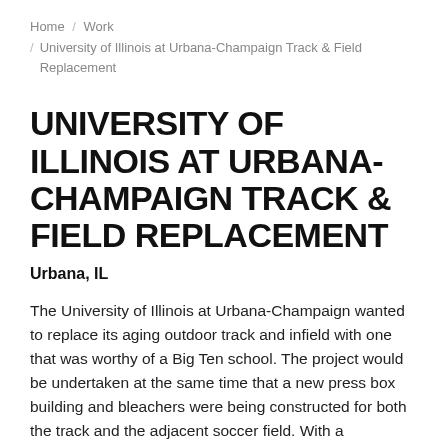Home / Work / University of Illinois at Urbana-Champaign Track & Field Replacement
UNIVERSITY OF ILLINOIS AT URBANA-CHAMPAIGN TRACK & FIELD REPLACEMENT
Urbana, IL
The University of Illinois at Urbana-Champaign wanted to replace its aging outdoor track and infield with one that was worthy of a Big Ten school. The project would be undertaken at the same time that a new press box building and bleachers were being constructed for both the track and the adjacent soccer field. With a